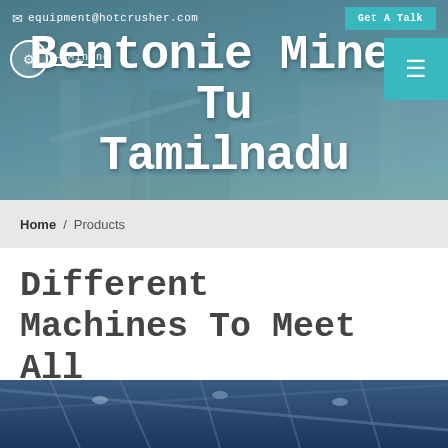[Figure (screenshot): Website screenshot showing a mining equipment company header with industrial plant background, email contact, Get A Talk button, company logo, hamburger menu, and large title text 'Bentonie Mines Tamilnadu']
equipment@hotcrusher.com  Get A Talk
Bentonie Mines Tamilnadu
Home / Products
Different Machines To Meet All Need
[Figure (photo): Interior of an industrial warehouse or factory with steel roof structure, blue-tinted lighting]